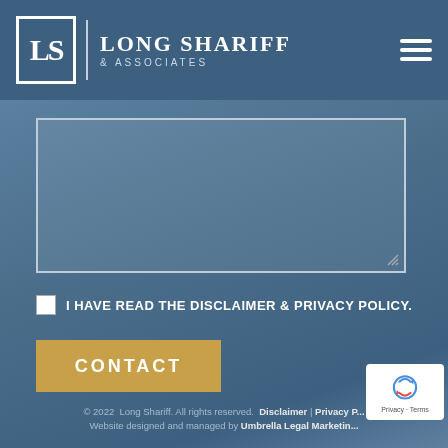Long Shariff & Associates
[Figure (screenshot): Large textarea/text input box with resize handle in bottom-right corner, on blue background]
I HAVE READ THE DISCLAIMER & PRIVACY POLICY.
CONTACT
© 2022  Long Shariff. All rights reserved. Disclaimer | Privacy Policy Website designed and managed by Umbrella Legal Marketing